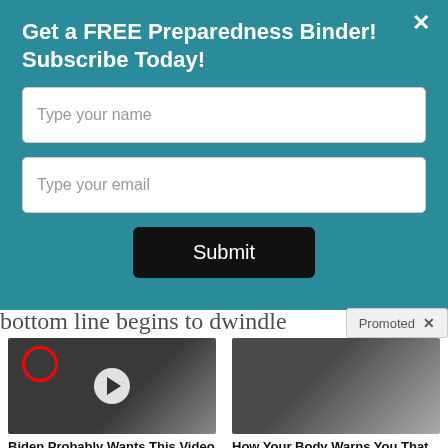Get a FREE Preparedness Binder! Subscribe Today!
Type your name
Type your email
Submit
bottom line begins to dwindle
Promoted
[Figure (photo): Group of men in suits at CIA headquarters with a red circle highlighting one figure and a video play button overlay]
Biden Probably Wants This Video Destroyed — US Dollar On Path Towards Replacement?
🔥 585,495
[Figure (photo): Person sitting on a bed in a dimly lit room, appearing elderly or ill]
How Your Body Warns You That Dementia Is Forming
🔥 60,471